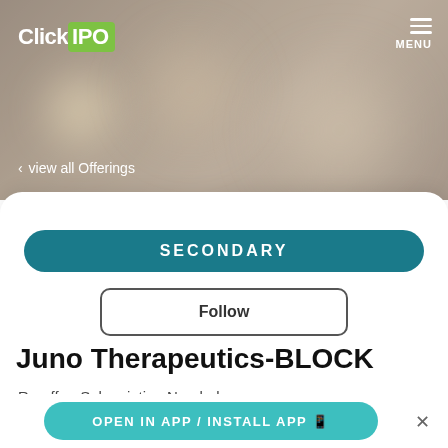[Figure (screenshot): ClickIPO app screenshot showing hero banner with blurred bokeh background, navigation menu icon, and back link]
ClickIPO  MENU
< view all Offerings
SECONDARY
Follow
Juno Therapeutics-BLOCK
Re-offer: Subscription Needed
OPEN IN APP / INSTALL APP 📱